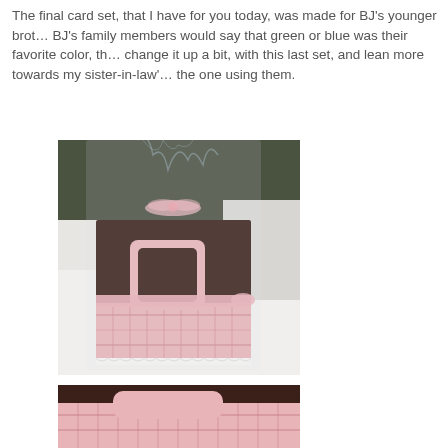The final card set, that I have for you today, was made for BJ's younger brot... BJ's family members would say that green or blue was their favorite color, th... change it up a bit, with this last set, and lean more towards my sister-in-law's... the one using them.
[Figure (photo): A gift card set wrapped in clear cellophane with a pink ribbon bow on top. The card box is dark brown with pink decorative paper featuring plaid/stripe pattern and a square frame accent. A white scalloped border is at the bottom of the box.]
[Figure (photo): A close-up partial view of the dark brown card box showing the pink decorative panel at the bottom portion.]